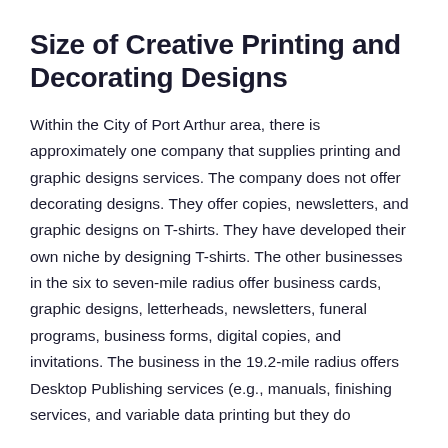Size of Creative Printing and Decorating Designs
Within the City of Port Arthur area, there is approximately one company that supplies printing and graphic designs services. The company does not offer decorating designs. They offer copies, newsletters, and graphic designs on T-shirts. They have developed their own niche by designing T-shirts. The other businesses in the six to seven-mile radius offer business cards, graphic designs, letterheads, newsletters, funeral programs, business forms, digital copies, and invitations. The business in the 19.2-mile radius offers Desktop Publishing services (e.g., manuals, finishing services, and variable data printing but they do
Learn the cost of your essay →